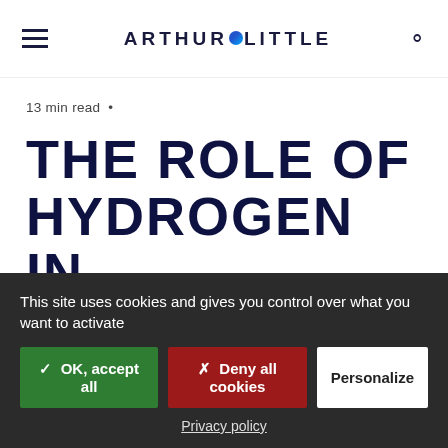Arthur D Little (logo) — navigation bar with hamburger menu and search icon
13 min read •
THE ROLE OF HYDROGEN IN BUILDING A SUSTAINABLE FUTURE FOR
This site uses cookies and gives you control over what you want to activate
✓ OK, accept all | ✗ Deny all cookies | Personalize
Privacy policy